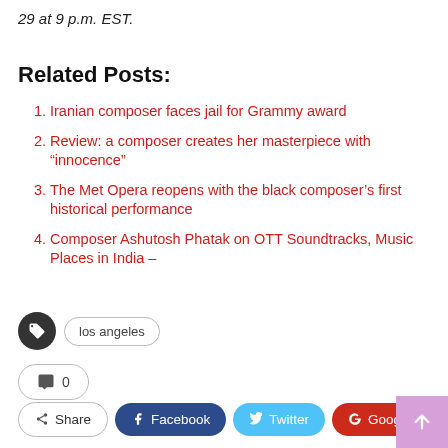29 at 9 p.m. EST.
Related Posts:
Iranian composer faces jail for Grammy award
Review: a composer creates her masterpiece with “innocence”
The Met Opera reopens with the black composer’s first historical performance
Composer Ashutosh Phatak on OTT Soundtracks, Music Places in India –
los angeles
0
Share  Facebook  Twitter  Google+